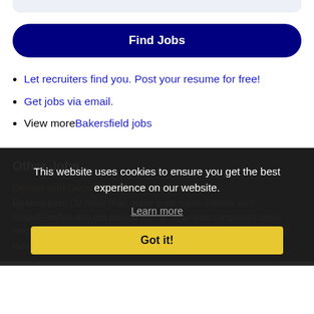[Figure (other): Light blue/gray rounded bar at the top of the page]
Find Jobs
Let recruiters find you. Post your resume for free!
Get jobs via email.
View more Bakersfield jobs
Other Jobs
Deliver with Gopuff/BevMo on your schedule
Description: Do more than make ends meet. Deliver with Gopuff/BevMo and get paid to deliver what your neighbors need from a Gopuff/BevMo facility near you With one centralized pickup location and smaller delivery (more...)
This website uses cookies to ensure you get the best experience on our website.
Learn more
Got it!